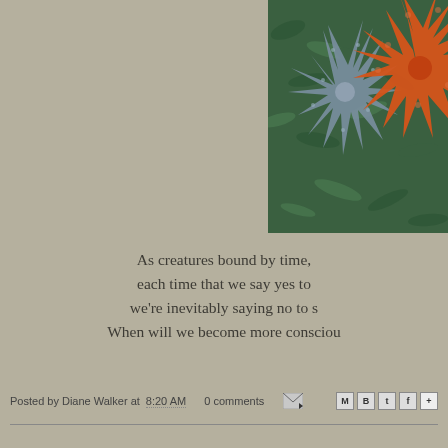[Figure (photo): Photo of two starfish on green seaweed/moss — a blue-grey starfish and a bright orange starfish, partially cropped, upper right area of the page]
As creatures bound by time, each time that we say yes to something, we're inevitably saying no to s... When will we become more consciou...
Posted by Diane Walker at 8:20 AM   0 comments